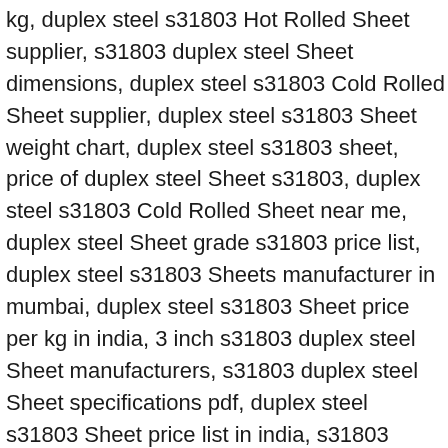kg, duplex steel s31803 Hot Rolled Sheet supplier, s31803 duplex steel Sheet dimensions, duplex steel s31803 Cold Rolled Sheet supplier, duplex steel s31803 Sheet weight chart, duplex steel s31803 sheet, price of duplex steel Sheet s31803, duplex steel s31803 Cold Rolled Sheet near me, duplex steel Sheet grade s31803 price list, duplex steel s31803 Sheets manufacturer in mumbai, duplex steel s31803 Sheet price per kg in india, 3 inch s31803 duplex steel Sheet manufacturers, s31803 duplex steel Sheet specifications pdf, duplex steel s31803 Sheet price list in india, s31803 duplex steel Sheet price list, dss s31803 Hot Rolled Sheet stockist, duplex steel s31803 Sheet price per meter, duplex steel s31803 Hot Rolled Sheets supplier in india, top 100 duplex steel s31803 Sheet dealers in pune, duplex steel s31803 Hot Rolled Sheet supplier, duplex stainless steel s31803 Sheets, cost of s31803 duplex steel Sheet, astm A240 dss Hot Rolled Sheet, duplex steel s31803 Shim Sheet supplier, duplex steel s31803 Sheet for sale, duplex steel s31803 Sheet supplier in mumbai, duplex steel s31803 Sheet supplier in india, buy duplex steel Sheet s31803 welded schedule 40, duplex steel s31803 Sheet cost, duplex steel s31803 Sheet manufacturers in india, s31803 duplex steel Sheet,